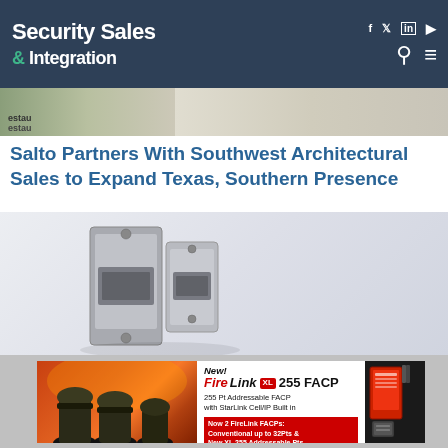Security Sales & Integration
[Figure (photo): Partial view of a building/restaurant exterior image strip at top of article]
Salto Partners With Southwest Architectural Sales to Expand Texas, Southern Presence
[Figure (photo): Electric strike / door hardware lock device product photo on light gray background]
[Figure (infographic): Advertisement banner: New! FireLink XL 255 FACP - 255 Pt Addressable FACP with StarLink Cell/IP Built in. Now 2 FireLink FACPs: Conventional up to 32Pts & New XL 255 Addressable Pts.]